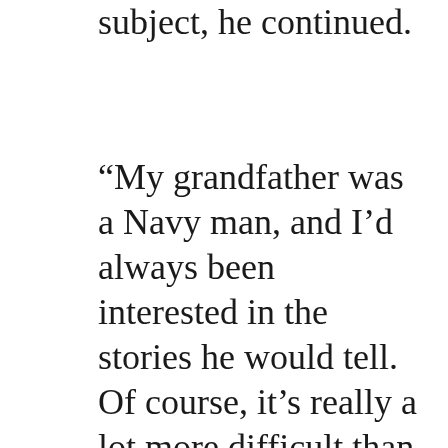subject, he continued.
“My grandfather was a Navy man, and I’d always been interested in the stories he would tell. Of course, it’s really a lot more difficult than he made it out to be